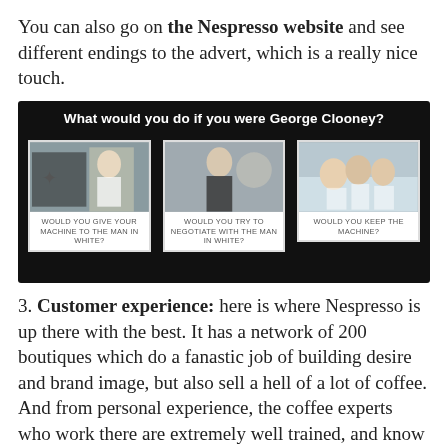You can also go on the Nespresso website and see different endings to the advert, which is a really nice touch.
[Figure (screenshot): Screenshot of a Nespresso website interactive page with dark background showing the heading 'What would you do if you were George Clooney?' and three clickable image cards: 'Would you give your machine to the man in white?', 'Would you try to negotiate with the man in white?', 'Would you keep the machine?']
3. Customer experience: here is where Nespresso is up there with the best. It has a network of 200 boutiques which do a fanastic job of building desire and brand image, but also sell a hell of a lot of coffee. And from personal experience, the coffee experts who work there are extremely well trained, and know their stuff.